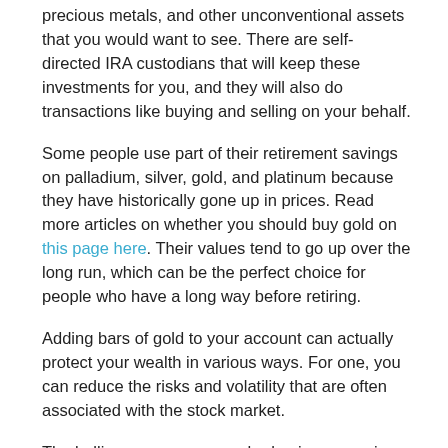precious metals, and other unconventional assets that you would want to see. There are self-directed IRA custodians that will keep these investments for you, and they will also do transactions like buying and selling on your behalf.
Some people use part of their retirement savings on palladium, silver, gold, and platinum because they have historically gone up in prices. Read more articles on whether you should buy gold on this page here. Their values tend to go up over the long run, which can be the perfect choice for people who have a long way before retiring.
Adding bars of gold to your account can actually protect your wealth in various ways. For one, you can reduce the risks and volatility that are often associated with the stock market.
The bullions can serve as a hedge in economic uncertainties, downtown, and more. You can also use them as tax shelters in the event that you'll have potential gains, but it's better if you can consult with an attorney or accountant to legally avoid paying taxes while your investments are still in the growing stage.